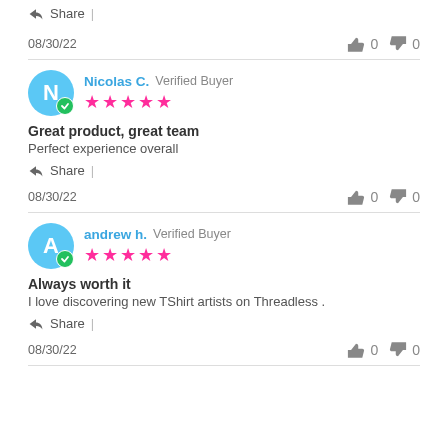Share  |
08/30/22   👍 0   👎 0
Nicolas C.  Verified Buyer  ★★★★★  Great product, great team  Perfect experience overall
Share  |
08/30/22   👍 0   👎 0
andrew h.  Verified Buyer  ★★★★★  Always worth it  I love discovering new TShirt artists on Threadless .
Share  |
08/30/22   👍 0   👎 0